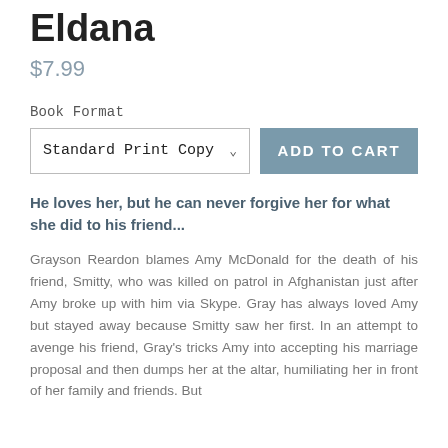Eldana
$7.99
Book Format
Standard Print Copy  ADD TO CART
He loves her, but he can never forgive her for what she did to his friend...
Grayson Reardon blames Amy McDonald for the death of his friend, Smitty, who was killed on patrol in Afghanistan just after Amy broke up with him via Skype. Gray has always loved Amy but stayed away because Smitty saw her first. In an attempt to avenge his friend, Gray's tricks Amy into accepting his marriage proposal and then dumps her at the altar, humiliating her in front of her family and friends. But